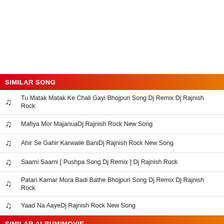SIMILAR SONG
Tu Matak Matak Ke Chali Gayi Bhojpuri Song Dj Remix Dj Rajnish Rock
Mafiya Mor MajanuaDj Rajnish Rock New Song
Ahir Se Gahir Karwaile BaniDj Rajnish Rock New Song
Saami Saami [ Pushpa Song Dj Remix ] Dj Rajnish Rock
Patari Kamar Mora Badi Bathe Bhojpuri Song Dj Remix Dj Rajnish Rock
Yaad Na AayeDj Rajnish Rock New Song
SIMILAR ALBUM/MOVIE
Dj Rajnish Rock Holi Song Mp3
Bhakti Song Dj Rajnish Rock